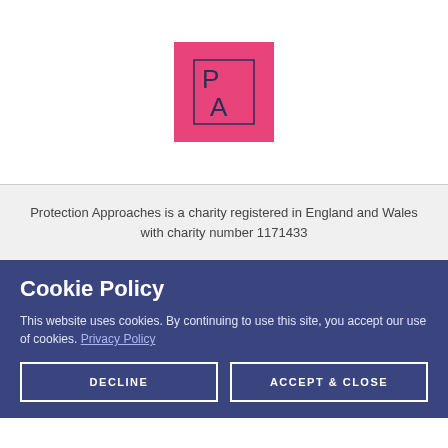[Figure (logo): Pink/magenta square logo with letters P and A inside a thin rectangular border]
Protection Approaches is a charity registered in England and Wales with charity number 1171433
Cookie Policy
This website uses cookies. By continuing to use this site, you accept our use of cookies. Privacy Policy